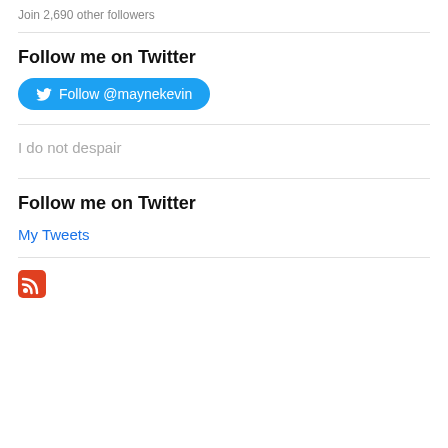Join 2,690 other followers
Follow me on Twitter
[Figure (other): Twitter follow button with bird icon labeled 'Follow @maynekevin']
I do not despair
Follow me on Twitter
My Tweets
[Figure (other): RSS feed icon (red square with white wifi-style signal lines)]